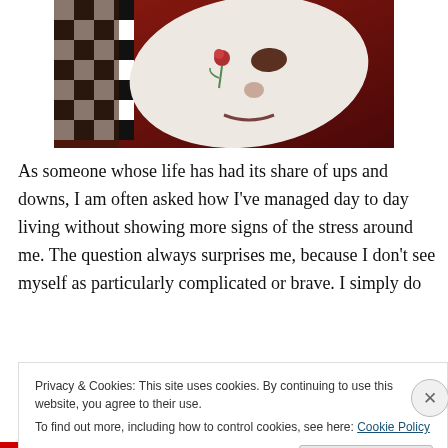[Figure (illustration): A painting of a white theatrical mask with a rose, against a dark red background with a checkered pattern on the left side.]
As someone whose life has had its share of ups and downs, I am often asked how I've managed day to day living without showing more signs of the stress around me. The question always surprises me, because I don't see myself as particularly complicated or brave. I simply do
Privacy & Cookies: This site uses cookies. By continuing to use this website, you agree to their use.
To find out more, including how to control cookies, see here: Cookie Policy